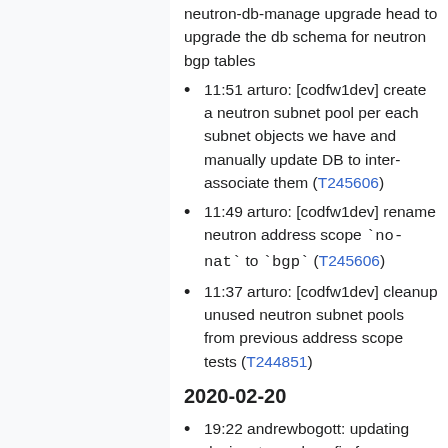neutron-db-manage upgrade head to upgrade the db schema for neutron bgp tables
11:51 arturo: [codfw1dev] create a neutron subnet pool per each subnet objects we have and manually update DB to inter-associate them (T245606)
11:49 arturo: [codfw1dev] rename neutron address scope `no-nat` to `bgp` (T245606)
11:37 arturo: [codfw1dev] cleanup unused neutron subnet pools from previous address scope tests (T244851)
2020-02-20
19:22 andrewbogott: updating designate pool config for https://gerrit.wikimedia.org/r/#/c/oper